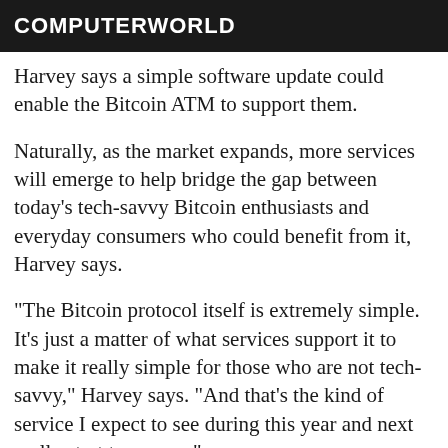COMPUTERWORLD
Harvey says a simple software update could enable the Bitcoin ATM to support them.
Naturally, as the market expands, more services will emerge to help bridge the gap between today's tech-savvy Bitcoin enthusiasts and everyday consumers who could benefit from it, Harvey says.
"The Bitcoin protocol itself is extremely simple. It's just a matter of what services support it to make it really simple for those who are not tech-savvy," Harvey says. "And that's the kind of service I expect to see during this year and next really start to pop up."
Colin Nee charges a p...